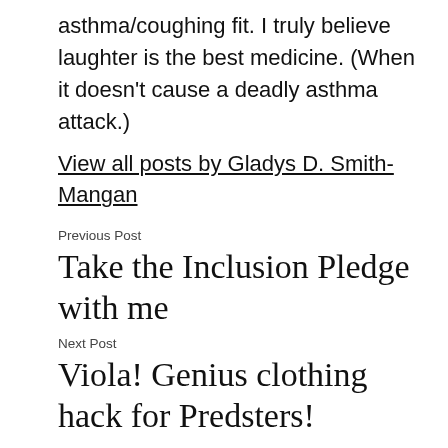asthma/coughing fit. I truly believe laughter is the best medicine. (When it doesn't cause a deadly asthma attack.)
View all posts by Gladys D. Smith-Mangan
Previous Post
Take the Inclusion Pledge with me
Next Post
Viola! Genius clothing hack for Predsters!